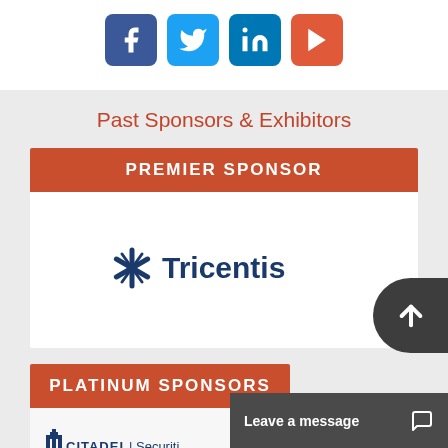[Figure (other): Social media icon buttons: Facebook (blue), Twitter (light blue), LinkedIn (blue), YouTube (red-orange)]
Past Sponsors & Exhibitors
PREMIER SPONSOR
[Figure (logo): Tricentis logo with asterisk-like icon and bold blue text]
PLATINUM SPONSORS
[Figure (logo): CITADEL | Securities logo (partial, cut off)]
Leave a message